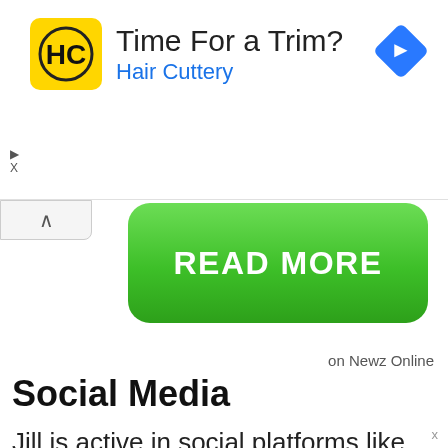[Figure (screenshot): Hair Cuttery advertisement banner with yellow HC logo, text 'Time For a Trim?' and 'Hair Cuttery' in blue, and a blue navigation diamond icon on the right]
[Figure (screenshot): Green 'READ MORE' button with rounded corners]
on Newz Online
Social Media
Jill is active in social platforms like Twitter and Instagram as well. She also posts pictures to her account spending family time with her kids. And to her social accounts, the number of followers is increasing on her social account on a daily basis